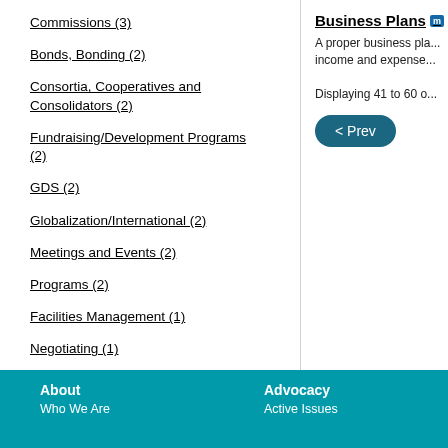Commissions (3)
Bonds, Bonding (2)
Consortia, Cooperatives and Consolidators (2)
Fundraising/Development Programs (2)
GDS (2)
Globalization/International (2)
Meetings and Events (2)
Programs (2)
Facilities Management (1)
Negotiating (1)
Scholarships (1)
Cruise (1)
Business Plans
A proper business pla... income and expense...
Displaying 41 to 60 o...
< Prev
About | Who We Are | Advocacy | Active Issues